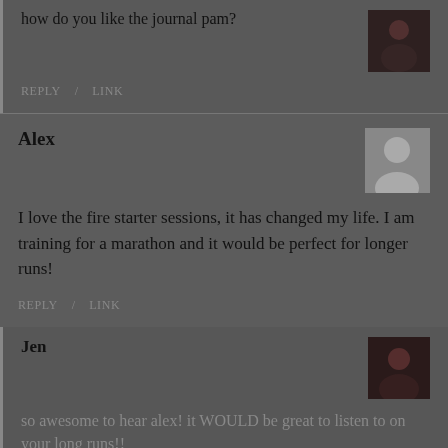how do you like the journal pam?
REPLY   LINK
Alex
I love the fire starter sessions, it has changed my life. I am training for a marathon and it would be perfect for longer runs!
REPLY   LINK
Jen
so awesome to hear alex! it WOULD be great to listen to on your long runs!!